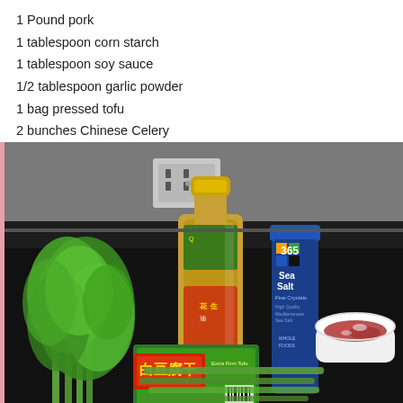1 Pound pork
1 tablespoon corn starch
1 tablespoon soy sauce
1/2 tablespoon garlic powder
1 bag pressed tofu
2 bunches Chinese Celery
[Figure (photo): Kitchen counter with cooking ingredients: a bunch of Chinese celery (leafy green), a large glass bottle of peanut oil with Chinese label, a blue cylindrical container of 365 Sea Salt Fine Crystals, a package of pressed tofu with Chinese characters (白豆腐干), a white bowl with ground pork, all arranged on a dark countertop with an electrical outlet visible on the wall behind.]